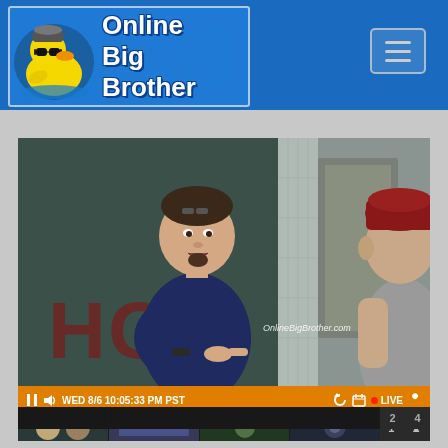[Figure (logo): Online Big Brother website logo with rubber duck mascot wearing sunglasses and beanie hat]
[Figure (screenshot): Big Brother live feed screenshot showing two houseguests in a room, one in navy blue t-shirt pointing at the other who is wearing a dark red beanie hat, with video player controls showing WED 8/6 10:05:33 PM PST and LIVE indicator, plus thumbnail strip at bottom]